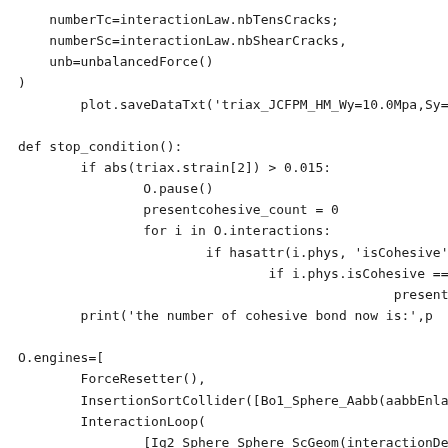numberTc=interactionLaw.nbTensCracks;
        numberSc=interactionLaw.nbShearCracks,
        unb=unbalancedForce()
)
        plot.saveDataTxt('triax_JCFPM_HM_Wy=10.0Mpa,Sy=2.0MPa

def stop_condition():
        if abs(triax.strain[2]) > 0.015:
                O.pause()
                presentcohesive_count = 0
                for i in O.interactions:
                        if hasattr(i.phys, 'isCohesive'):
                                if i.phys.isCohesive == 1:
                                                presentcohesive_count
        print('the number of cohesive bond now is:',p

O.engines=[
        ForceResetter(),
        InsertionSortCollider([Bo1_Sphere_Aabb(aabbEnlargeFac
        InteractionLoop(
                [Ig2_Sphere_Sphere_ScGeom(interactionDetectio
                [Ip2_JCFpmMat_JCFpmMat_JCFpmPhys()],
                [Law2_ScGeom_JCFpmPhys_JointedCohesiveFrictio
        ),
        GlobalStiffnessTimeStepper(active=1,timeStepUpdateInt
        triax